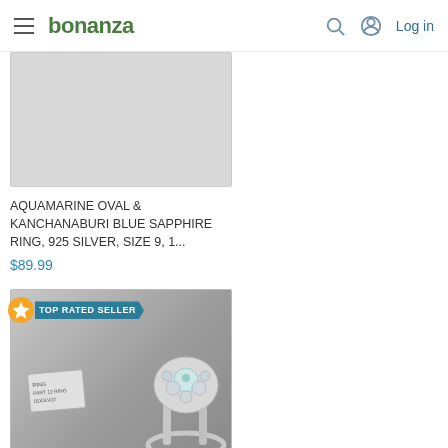bonanza — Log in
[Figure (photo): Partial product image of aquamarine ring, light grey background, cropped at top]
AQUAMARINE OVAL & KANCHANABURI BLUE SAPPHIRE RING, 925 SILVER, SIZE 9, 1...
$89.99
[Figure (photo): Photo of a silver ring with large gemstone cluster and price tag, on white background. TOP RATED SELLER badge shown.]